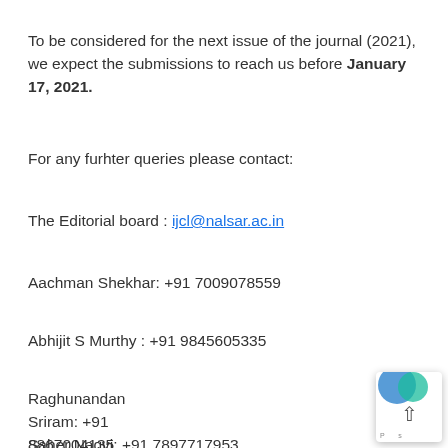To be considered for the next issue of the journal (2021), we expect the submissions to reach us before January 17, 2021.
For any furhter queries please contact:
The Editorial board : ijcl@nalsar.ac.in
Aachman Shekhar: +91 7009078559
Abhijit S Murthy : +91 9845605335
Raghunandan Sriram: +91 8867004135
Saher Naqvi: +91 7897717953